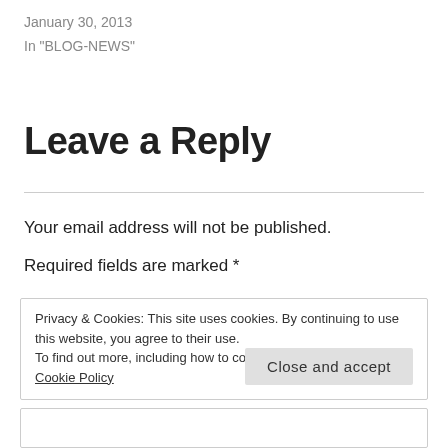January 30, 2013
In "BLOG-NEWS"
Leave a Reply
Your email address will not be published.
Required fields are marked *
Privacy & Cookies: This site uses cookies. By continuing to use this website, you agree to their use.
To find out more, including how to control cookies, see here: Cookie Policy
Close and accept